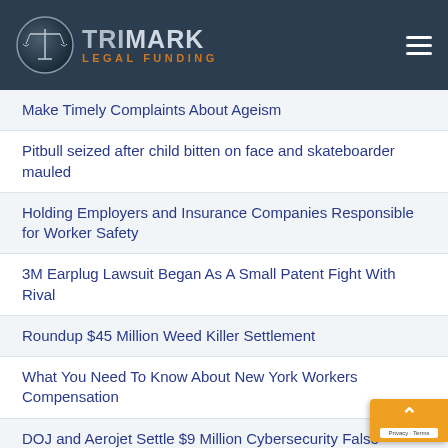[Figure (logo): TriMark Legal Funding logo with scales of justice icon in dark circular badge and orange/gray text]
Make Timely Complaints About Ageism
Pitbull seized after child bitten on face and skateboarder mauled
Holding Employers and Insurance Companies Responsible for Worker Safety
3M Earplug Lawsuit Began As A Small Patent Fight With Rival
Roundup $45 Million Weed Killer Settlement
What You Need To Know About New York Workers Compensation
DOJ and Aerojet Settle $9 Million Cybersecurity False...